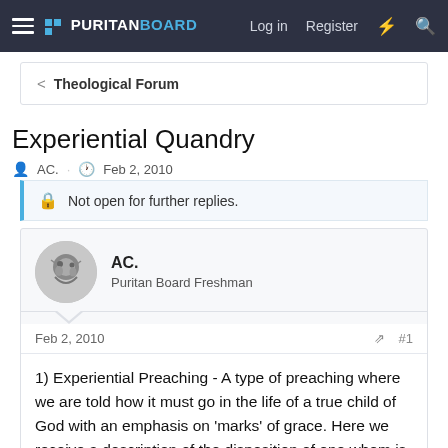PURITAN BOARD — Log in  Register
< Theological Forum
Experiential Quandry
AC. · Feb 2, 2010
Not open for further replies.
AC.
Puritan Board Freshman
Feb 2, 2010    #1
1) Experiential Preaching - A type of preaching where we are told how it must go in the life of a true child of God with an emphasis on 'marks' of grace. Here we receive a description of the disposition of one whom is saved. We are told that 'to be